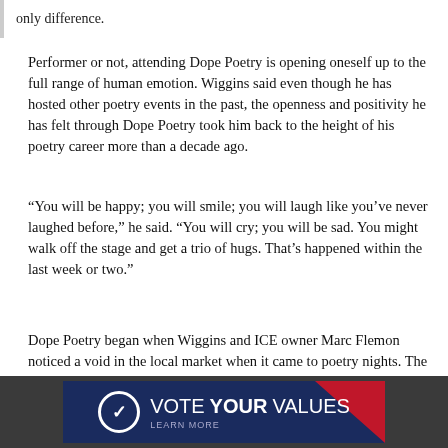only difference.
Performer or not, attending Dope Poetry is opening oneself up to the full range of human emotion. Wiggins said even though he has hosted other poetry events in the past, the openness and positivity he has felt through Dope Poetry took him back to the height of his poetry career more than a decade ago.
“You will be happy; you will smile; you will laugh like you’ve never laughed before,” he said. “You will cry; you will be sad. You might walk off the stage and get a trio of hugs. That’s happened within the last week or two.”
Dope Poetry began when Wiggins and ICE owner Marc Flemon noticed a void in the local market when it came to poetry nights. The first show was in November, and Crawford was soon a co-host.
[Figure (infographic): Advertisement banner reading VOTE YOUR VALUES LEARN MORE on a dark navy background with a red corner accent and a circular checkmark logo]